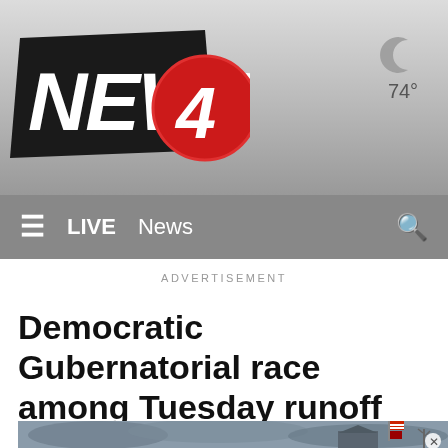[Figure (logo): NEWS4 television station logo with bold italic white text on dark background and red circle with '4']
[Figure (other): Weather icon showing crescent moon symbol with temperature reading 74 degrees]
≡  LIVE  News
ADVERTISEMENT
Democratic Gubernatorial race among Tuesday runoff elections
[Figure (photo): Exterior photo of a government building under cloudy sky with an American flag and state flag on a flagpole, and bare trees visible]